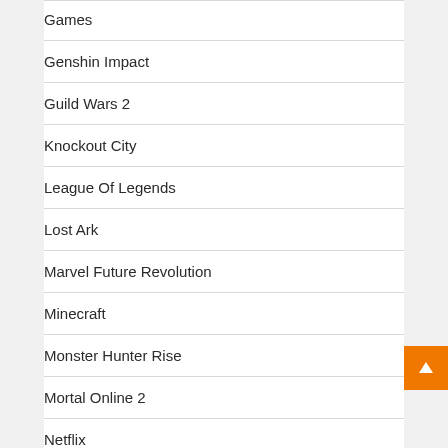Games
Genshin Impact
Guild Wars 2
Knockout City
League Of Legends
Lost Ark
Marvel Future Revolution
Minecraft
Monster Hunter Rise
Mortal Online 2
Netflix